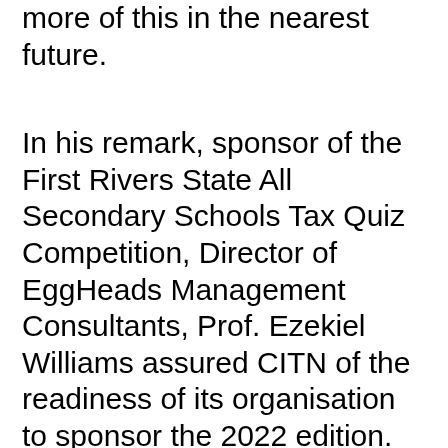more of this in the nearest future.
In his remark, sponsor of the First Rivers State All Secondary Schools Tax Quiz Competition, Director of EggHeads Management Consultants, Prof. Ezekiel Williams assured CITN of the readiness of its organisation to sponsor the 2022 edition.
He noted that his organisation will continue to contribute towards tax awareness and compliance in the society saying that if concrete steps